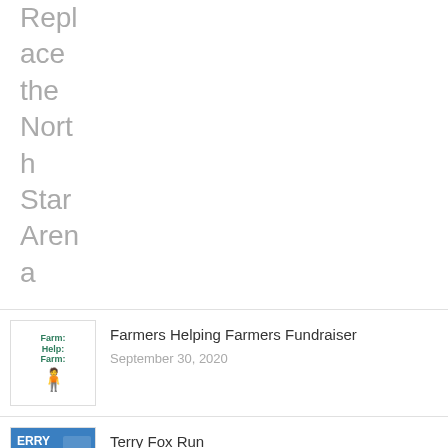Replace the North Star Arena
Farmers Helping Farmers Fundraiser
September 30, 2020
Terry Fox Run
September 18, 2020
“Christmas Uncluttered” A Christmas Musical for World Vision
November 18, 2019